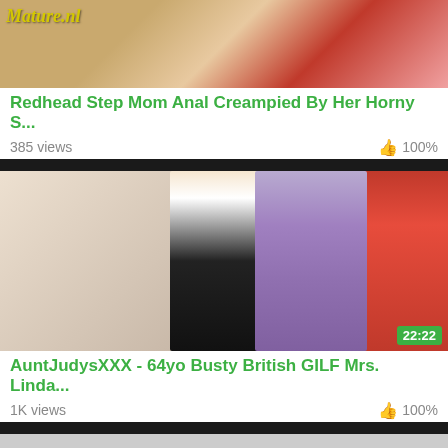[Figure (photo): Thumbnail image of video with Mature.nl watermark, red lingerie visible]
Redhead Step Mom Anal Creampied By Her Horny S...
385 views   👍 100%
[Figure (photo): Thumbnail showing two people standing in front of red curtains, duration badge 22:22]
AuntJudysXXX - 64yo Busty British GILF Mrs. Linda...
1K views   👍 100%